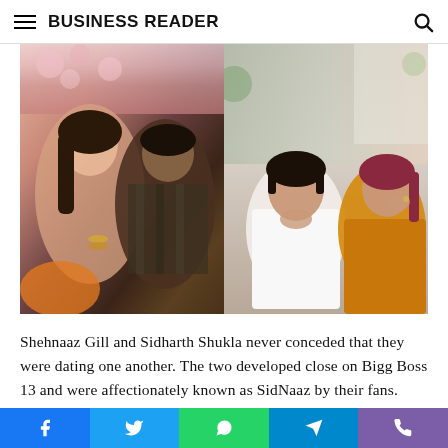BUSINESS READER
[Figure (photo): Two-panel celebrity photo: left panel shows a couple (woman and man) in a romantic close pose with floral background; right panel shows a man and woman sitting together indoors.]
Shehnaaz Gill and Sidharth Shukla never conceded that they were dating one another. The two developed close on Bigg Boss 13 and were affectionately known as SidNaaz by their fans. Sidharth Shukla, who was one of the most
Social share bar: Facebook, Twitter, WhatsApp, Telegram, Viber